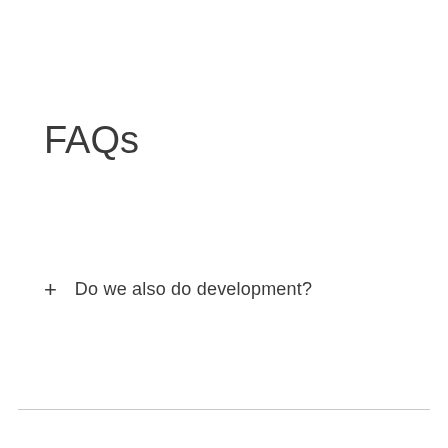FAQs
+ Do we also do development?